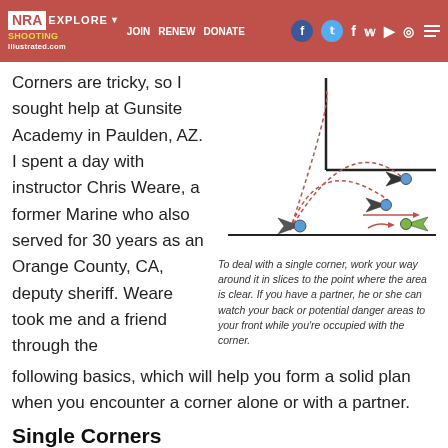NRA EXPLORE ▼  JOIN  RENEW  DONATE  [social icons]
Corners are tricky, so I sought help at Gunsite Academy in Paulden, AZ. I spent a day with instructor Chris Weare, a former Marine who also served for 30 years as an Orange County, CA, deputy sheriff. Weare took me and a friend through the following basics, which will help you form a solid plan when you encounter a corner alone or with a partner.
[Figure (illustration): Tactical diagram showing a corner clearing technique with shooter positions illustrated as arrow-shaped figures with blue/green heads, and red dotted lines showing movement paths around a right-angle corner.]
To deal with a single corner, work your way around it in slices to the point where the area is clear. If you have a partner, he or she can watch your back or potential danger areas to your front while you're occupied with the corner.
Single Corners